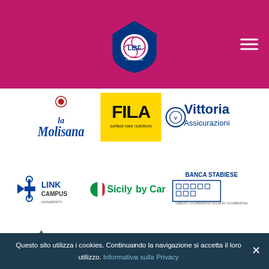LBF Lega Basket Femminile – Navigation header with logo and hamburger menu
[Figure (logo): La Molisana pasta brand logo in blue cursive script]
[Figure (logo): FILA surface care solutions logo on yellow background]
[Figure (logo): Vittoria Assicurazioni insurance company logo]
[Figure (logo): Link Campus University logo in blue and dark]
[Figure (logo): Sicily by Car logo with Italian flag roundel]
[Figure (logo): Banca Stabiese bank logo with building illustration]
[Figure (logo): Giorgio Tesi Group logo with green tree icon]
[Figure (logo): neXt Offices logo with cityscape]
[Figure (logo): Brixia Technology Led logo with blue bird]
Questo sito utilizza i cookies. Continuando la navigazione si accetta il loro utilizzo. Informativa sulla Privacy